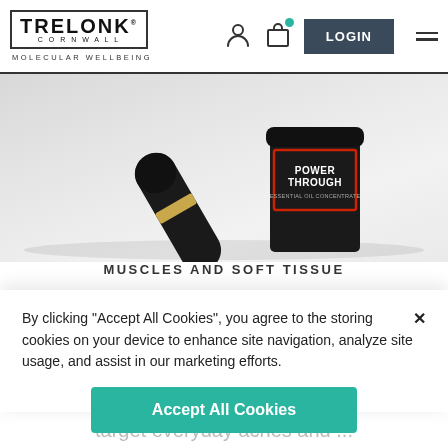TRELONK CORNWALL — MOLECULAR WELLBEING
[Figure (photo): Product photo showing two dark cylindrical Trelonk products — a sleek pen-style device with gold band and a jar labeled POWER THROUGH ESSENTIAL OIL CONCENTRATE — on a light grey surface.]
MUSCLES AND SOFT TISSUE
By clicking "Accept All Cookies", you agree to the storing cookies on your device to enhance site navigation, analyze site usage, and assist in our marketing efforts.
Accept All Cookies
Cookies Settings
target everyday aches and ...